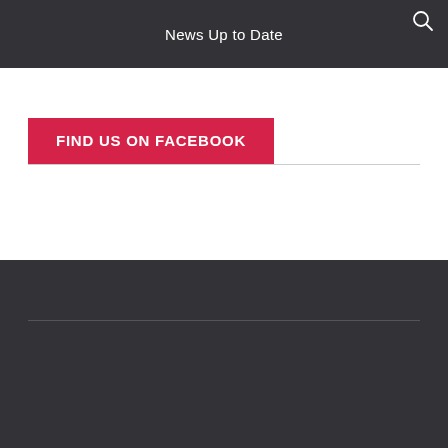News Up to Date
FIND US ON FACEBOOK